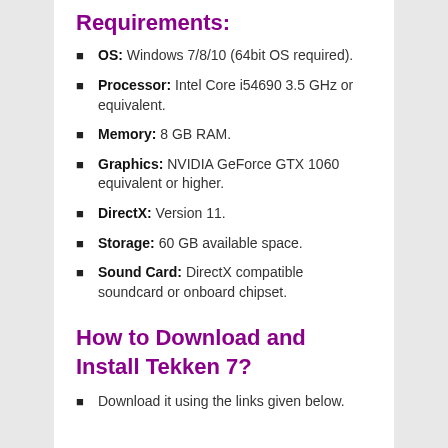Requirements:
OS: Windows 7/8/10 (64bit OS required).
Processor: Intel Core i54690 3.5 GHz or equivalent.
Memory: 8 GB RAM.
Graphics: NVIDIA GeForce GTX 1060 equivalent or higher.
DirectX: Version 11.
Storage: 60 GB available space.
Sound Card: DirectX compatible soundcard or onboard chipset.
How to Download and Install Tekken 7?
Download it using the links given below.